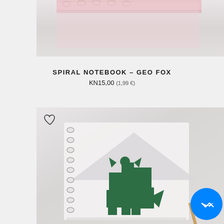[Figure (photo): Top portion of a spiral notebook product photo on a light grey/pink background, showing the top edge of the notebook with a pink/rose colored cover]
SPIRAL NOTEBOOK – GEO FOX
KN15,00 (1,99 €)
[Figure (photo): Spiral notebook with white cover featuring a geometric green fox logo design, photographed on a light background. A heart/wishlist icon is visible in the top left corner of the image. A Messenger chat button appears in the bottom right corner.]